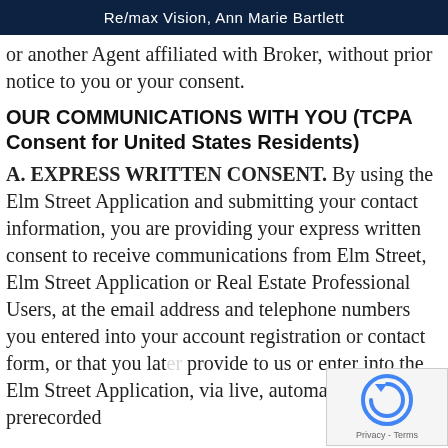Re/max Vision, Ann Marie Bartlett
or another Agent affiliated with Broker, without prior notice to you or your consent.
OUR COMMUNICATIONS WITH YOU (TCPA Consent for United States Residents)
A. EXPRESS WRITTEN CONSENT. By using the Elm Street Application and submitting your contact information, you are providing your express written consent to receive communications from Elm Street, Elm Street Application or Real Estate Professional Users, at the email address and telephone numbers you entered into your account registration or contact form, or that you later provide to us or enter into the Elm Street Application, via live, automated or prerecorded